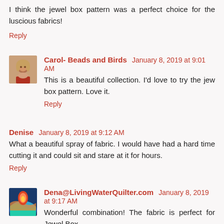I think the jewel box pattern was a perfect choice for the luscious fabrics!
Reply
Carol- Beads and Birds  January 8, 2019 at 9:01 AM
This is a beautiful collection. I'd love to try the jew box pattern. Love it.
Reply
Denise  January 8, 2019 at 9:12 AM
What a beautiful spray of fabric. I would have had a hard time cutting it and could sit and stare at it for hours.
Reply
Dena@LivingWaterQuilter.com  January 8, 2019 at 9:17 AM
Wonderful combination! The fabric is perfect for Jewel Box